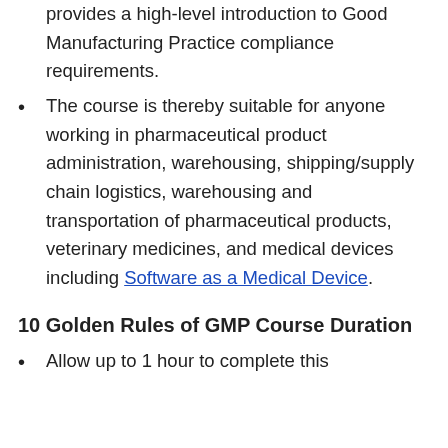provides a high-level introduction to Good Manufacturing Practice compliance requirements.
The course is thereby suitable for anyone working in pharmaceutical product administration, warehousing, shipping/supply chain logistics, warehousing and transportation of pharmaceutical products, veterinary medicines, and medical devices including Software as a Medical Device.
10 Golden Rules of GMP Course Duration
Allow up to 1 hour to complete this